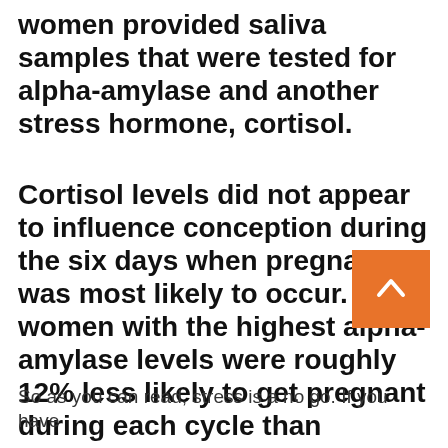women provided saliva samples that were tested for alpha-amylase and another stress hormone, cortisol.
Cortisol levels did not appear to influence conception during the six days when pregnancy was most likely to occur. But women with the highest alpha-amylase levels were roughly 12% less likely to get pregnant during each cycle than women with the lowest levels.
So as you can read, stress is a no go. If you have